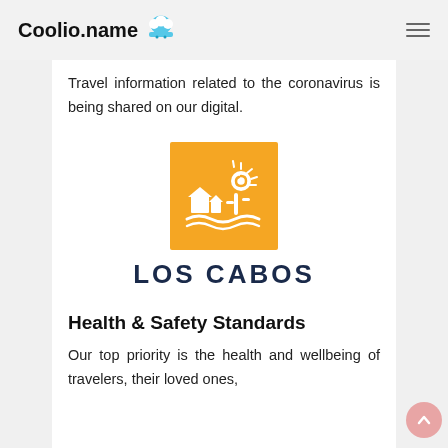Coolio.name
Travel information related to the coronavirus is being shared on our digital.
[Figure (logo): Los Cabos logo: orange square with white desert scene icon (house, sun, cactus, waves) above the text LOS CABOS in dark navy bold letters]
Health & Safety Standards
Our top priority is the health and wellbeing of travelers, their loved ones,